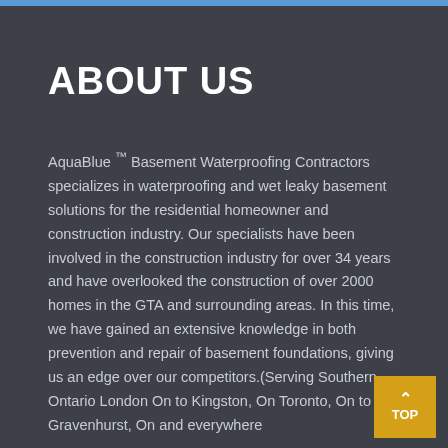ABOUT US
AquaBlue ™ Basement Waterproofing Contractors specializes in waterproofing and wet leaky basement solutions for the residential homeowner and construction industry. Our specialists have been involved in the construction industry for over 34 years and have overlooked the construction of over 2000 homes in the GTA and surrounding areas. In this time, we have gained an extensive knowledge in both prevention and repair of basement foundations, giving us an edge over our competitors.(Serving Southern Ontario London On to Kingston, On Toronto, On to Gravenhurst, On and everywhere